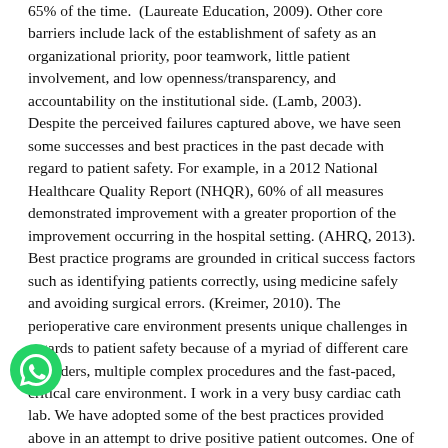65% of the time. (Laureate Education, 2009). Other core barriers include lack of the establishment of safety as an organizational priority, poor teamwork, little patient involvement, and low openness/transparency, and accountability on the institutional side. (Lamb, 2003).
Despite the perceived failures captured above, we have seen some successes and best practices in the past decade with regard to patient safety. For example, in a 2012 National Healthcare Quality Report (NHQR), 60% of all measures demonstrated improvement with a greater proportion of the improvement occurring in the hospital setting. (AHRQ, 2013). Best practice programs are grounded in critical success factors such as identifying patients correctly, using medicine safely and avoiding surgical errors. (Kreimer, 2010). The perioperative care environment presents unique challenges in regards to patient safety because of a myriad of different care providers, multiple complex procedures and the fast-paced, critical care environment. I work in a very busy cardiac cath lab. We have adopted some of the best practices provided above in an attempt to drive positive patient outcomes. One of these practices is the procedural Time Out. Time Out, where we state the correct patient, procedure, physician and voice any questions or concerns immediately prior